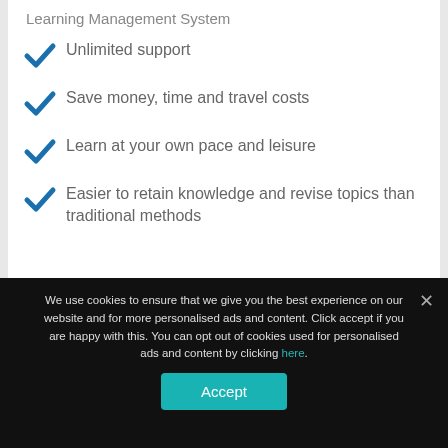Learning Management System
Unlimited support
Save money, time and travel costs
Learn at your own pace and leisure
Easier to retain knowledge and revise topics than traditional methods
We use cookies to ensure that we give you the best experience on our website and for more personalised ads and content. Click accept if you are happy with this. You can opt out of cookies used for personalised ads and content by clicking here.